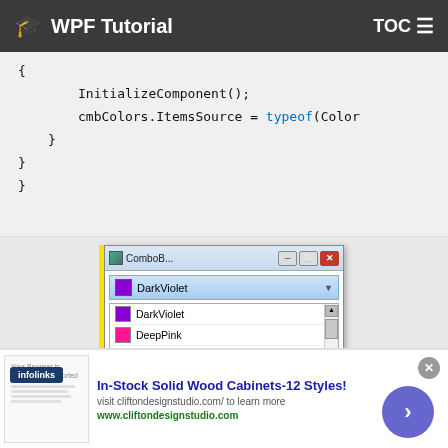WPF Tutorial  TOC
{
    InitializeComponent();
    cmbColors.ItemsSource = typeof(Color
[Figure (screenshot): Windows application screenshot showing a ComboBox with color items: DarkViolet (selected), DarkViolet, DeepPink, DeepSkyBlue, DimGray (highlighted)]
In-Stock Solid Wood Cabinets-12 Styles!
visit cliftondesignstudio.com/ to learn more
www.cliftondesignstudio.com